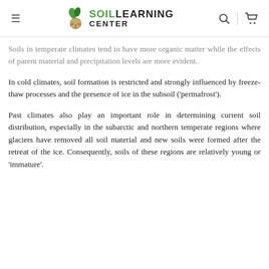Soil Learning Center
Soils in temperate climates tend to have more organic matter while the effects of parent material and precipitation levels are more evident.
In cold climates, soil formation is restricted and strongly influenced by freeze-thaw processes and the presence of ice in the subsoil ('permafrost').
Past climates also play an important role in determining current soil distribution, especially in the subarctic and northern temperate regions where glaciers have removed all soil material and new soils were formed after the retreat of the ice. Consequently, soils of these regions are relatively young or 'immature'.